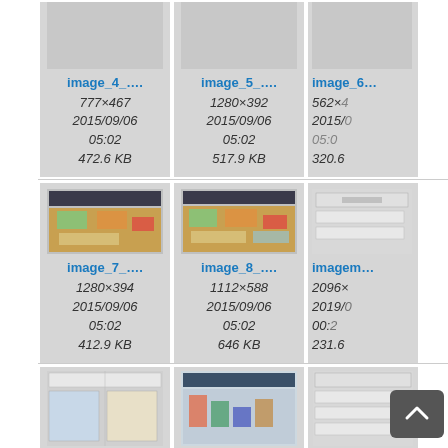[Figure (screenshot): Thumbnail card for image_4_ showing 777×467, 2015/09/06 05:02, 472.6 KB]
[Figure (screenshot): Thumbnail card for image_5_ showing 1280×392, 2015/09/06 05:02, 517.9 KB]
[Figure (screenshot): Thumbnail card for image_6_ (partial) showing 562×?, 2015/0?, 320.6?]
[Figure (screenshot): Thumbnail card for image_7_ showing screenshot, 1280×394, 2015/09/06 05:02, 412.9 KB]
[Figure (screenshot): Thumbnail card for image_8_ showing screenshot, 1112×588, 2015/09/06 05:02, 646 KB]
[Figure (screenshot): Thumbnail card for imagem? (partial) showing screenshot, 2096×?, 2019/0?, 00:2?, 231.6?]
[Figure (screenshot): Third row partially visible thumbnails]